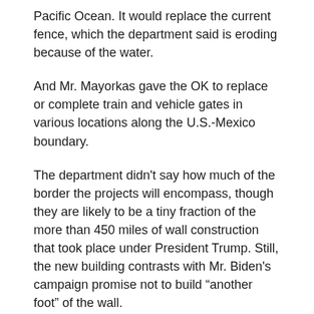Pacific Ocean. It would replace the current fence, which the department said is eroding because of the water.
And Mr. Mayorkas gave the OK to replace or complete train and vehicle gates in various locations along the U.S.-Mexico boundary.
The department didn't say how much of the border the projects will encompass, though they are likely to be a tiny fraction of the more than 450 miles of wall construction that took place under President Trump. Still, the new building contrasts with Mr. Biden's campaign promise not to build “another foot” of the wall.
The department didn't say which gap it plans to fill in the wall in Yuma, Arizona, but local officials have pointed to dozens of holes they wanted filled. They told Newsy last month Mr. Mr...